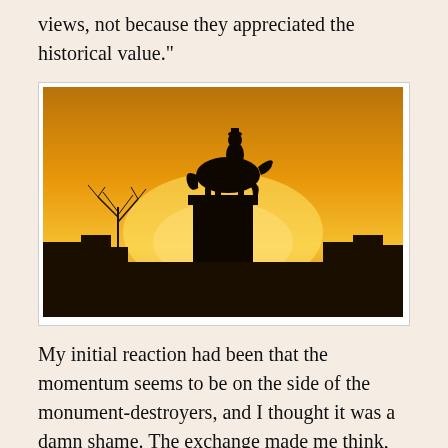views, not because they appreciated the historical value."
[Figure (photo): Silhouette of an equestrian statue (rider on horseback atop a large pedestal) against a vivid orange and yellow sunset sky, with bare trees and buildings visible in the background.]
My initial reaction had been that the momentum seems to be on the side of the monument-destroyers, and I thought it was a damn shame. The exchange made me think, and read, and think some more. I was aided in this by another friend, Laura, who put me onto a set of videos...